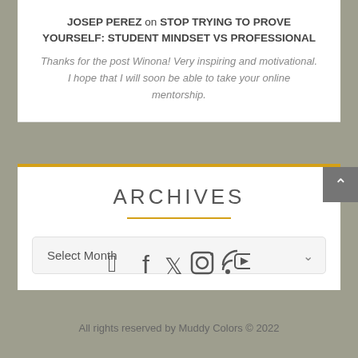JOSEP PEREZ on STOP TRYING TO PROVE YOURSELF: STUDENT MINDSET VS PROFESSIONAL
Thanks for the post Winona! Very inspiring and motivational. I hope that I will soon be able to take your online mentorship.
ARCHIVES
Select Month
All rights reserved by Muddy Colors © 2022